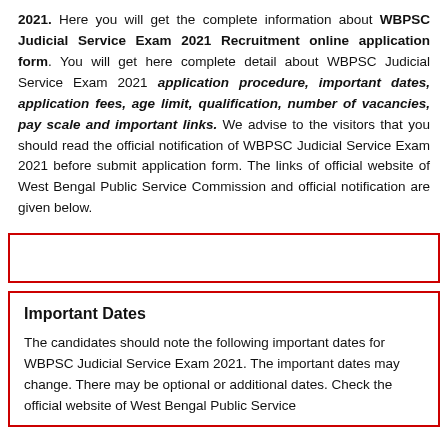2021. Here you will get the complete information about WBPSC Judicial Service Exam 2021 Recruitment online application form. You will get here complete detail about WBPSC Judicial Service Exam 2021 application procedure, important dates, application fees, age limit, qualification, number of vacancies, pay scale and important links. We advise to the visitors that you should read the official notification of WBPSC Judicial Service Exam 2021 before submit application form. The links of official website of West Bengal Public Service Commission and official notification are given below.
Important Dates
The candidates should note the following important dates for WBPSC Judicial Service Exam 2021. The important dates may change. There may be optional or additional dates. Check the official website of West Bengal Public Service